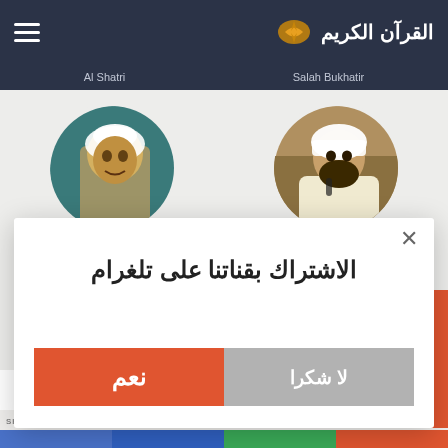القرآن الكريم
Al Shatri
Salah Bukhatir
[Figure (photo): Circular portrait photo of reciter Al Shatri]
[Figure (photo): Circular portrait photo of reciter Salah Bukhatir]
الاشتراك بقناتنا على تلغرام
نعم
لا شكرا
AddThis